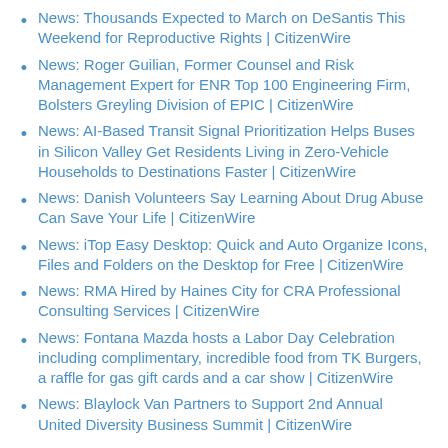News: Thousands Expected to March on DeSantis This Weekend for Reproductive Rights | CitizenWire
News: Roger Guilian, Former Counsel and Risk Management Expert for ENR Top 100 Engineering Firm, Bolsters Greyling Division of EPIC | CitizenWire
News: AI-Based Transit Signal Prioritization Helps Buses in Silicon Valley Get Residents Living in Zero-Vehicle Households to Destinations Faster | CitizenWire
News: Danish Volunteers Say Learning About Drug Abuse Can Save Your Life | CitizenWire
News: iTop Easy Desktop: Quick and Auto Organize Icons, Files and Folders on the Desktop for Free | CitizenWire
News: RMA Hired by Haines City for CRA Professional Consulting Services | CitizenWire
News: Fontana Mazda hosts a Labor Day Celebration including complimentary, incredible food from TK Burgers, a raffle for gas gift cards and a car show | CitizenWire
News: Blaylock Van Partners to Support 2nd Annual United Diversity Business Summit | CitizenWire